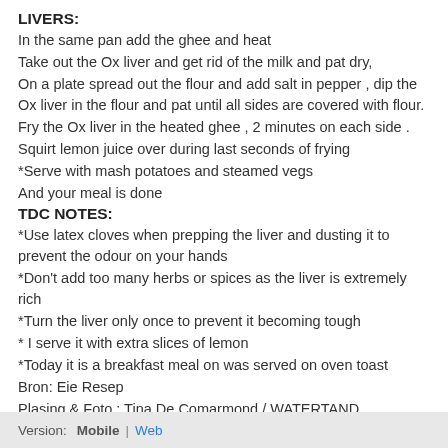LIVERS:
In the same pan add the ghee and heat
Take out the Ox liver and get rid of the milk and pat dry,
On a plate spread out the flour and add salt in pepper , dip the Ox liver in the flour and pat until all sides are covered with flour.
Fry the Ox liver in the heated ghee , 2 minutes on each side .
Squirt lemon juice over during last seconds of frying
*Serve with mash potatoes and steamed vegs
And your meal is done
TDC NOTES:
*Use latex cloves when prepping the liver and dusting it to prevent the odour on your hands
*Don't add too many herbs or spices as the liver is extremely rich
*Turn the liver only once to prevent it becoming tough
* I serve it with extra slices of lemon
*Today it is a breakfast meal on was served on oven toast
Bron: Eie Resep
Plasing & Foto : Tina De Comarmond / WATERTAND RESEPTE VIR OUD EN JONK
Version:   Mobile  |  Web